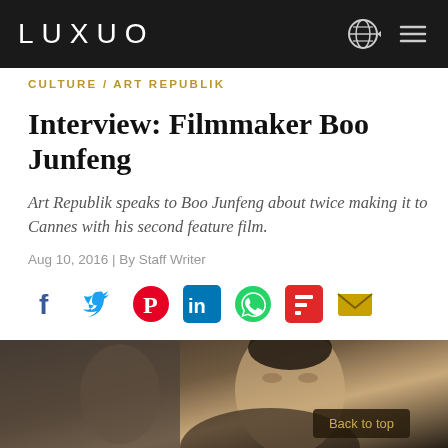LUXUO
CULTURE / ART REPUBLIK
Interview: Filmmaker Boo Junfeng
Art Republik speaks to Boo Junfeng about twice making it to Cannes with his second feature film.
Aug 10, 2016 | By Staff Writer
[Figure (other): Social sharing icons row: Facebook, Twitter, Pinterest, LinkedIn, WhatsApp, Flipboard, Email]
[Figure (photo): Portrait photo of filmmaker Boo Junfeng, partial view showing upper body and face against dark blurred background]
Back to top